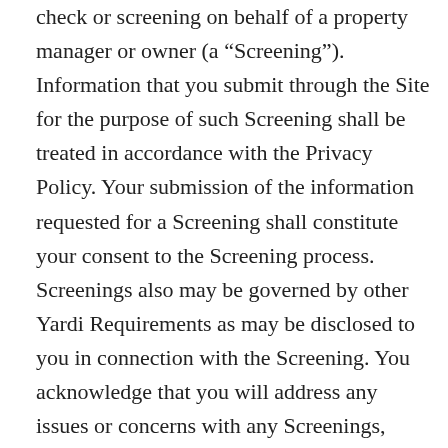check or screening on behalf of a property manager or owner (a “Screening”). Information that you submit through the Site for the purpose of such Screening shall be treated in accordance with the Privacy Policy. Your submission of the information requested for a Screening shall constitute your consent to the Screening process. Screenings also may be governed by other Yardi Requirements as may be disclosed to you in connection with the Screening. You acknowledge that you will address any issues or concerns with any Screenings, including the results of any Screenings, by contacting the appropriate property manager or owner, or as otherwise permitted under the Yardi Requirements applicable to the Screening or as otherwise required by law. Yardi shall not become involved in Screening related issues except where the